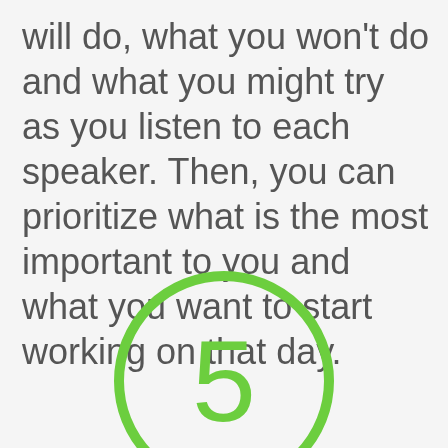will do, what you won't do and what you might try as you listen to each speaker. Then, you can prioritize what is the most important to you and what you want to start working on that day.
[Figure (other): A large green outlined circle containing the number 5 in green, partially cut off at the bottom of the page.]